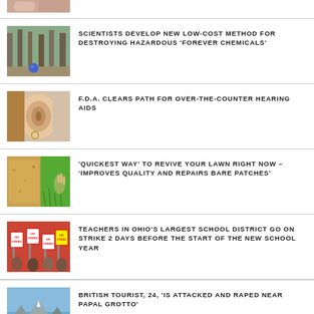[Figure (photo): Partial cropped photo at top of page, person visible]
SCIENTISTS DEVELOP NEW LOW-COST METHOD FOR DESTROYING HAZARDOUS 'FOREVER CHEMICALS'
[Figure (photo): A forest/nature scene with a blue ball on the ground]
F.D.A. CLEARS PATH FOR OVER-THE-COUNTER HEARING AIDS
[Figure (photo): Close-up of a human ear with earring]
'QUICKEST WAY' TO REVIVE YOUR LAWN RIGHT NOW – 'IMPROVES QUALITY AND REPAIRS BARE PATCHES'
[Figure (photo): Split image of dry/brown ground and green grass with hand]
TEACHERS IN OHIO'S LARGEST SCHOOL DISTRICT GO ON STRIKE 2 DAYS BEFORE THE START OF THE NEW SCHOOL YEAR
[Figure (photo): Protesters with signs reading ON STRIKE]
BRITISH TOURIST, 24, 'IS ATTACKED AND RAPED NEAR PAPAL GROTTO'
[Figure (photo): Blue sky mountain scene]